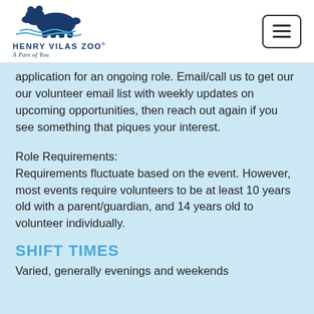[Figure (logo): Henry Vilas Zoo logo — polar bear silhouette in dark navy blue with text 'HENRY VILAS ZOO' and tagline 'A Part of You']
application for an ongoing role. Email/call us to get our our volunteer email list with weekly updates on upcoming opportunities, then reach out again if you see something that piques your interest.
Role Requirements:
Requirements fluctuate based on the event. However, most events require volunteers to be at least 10 years old with a parent/guardian, and 14 years old to volunteer individually.
SHIFT TIMES
Varied, generally evenings and weekends